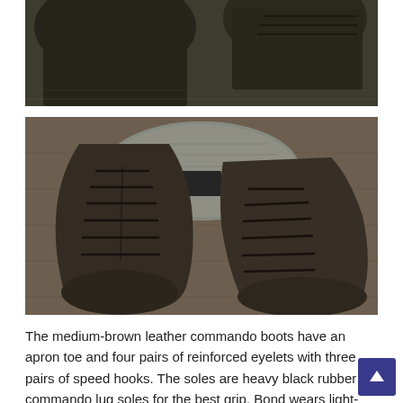[Figure (photo): Top portion of photo showing two dark military-style boots from above on a textured floor surface.]
[Figure (photo): Close-up overhead view of two medium-brown leather commando boots with dark laces on a textured floor surface with a metallic diamond-plate circular element visible.]
The medium-brown leather commando boots have an apron toe and four pairs of reinforced eyelets with three pairs of speed hooks. The soles are heavy black rubber commando lug soles for the best grip. Bond wears light-olive-green socks with the boots, which he tucks his trousers into.